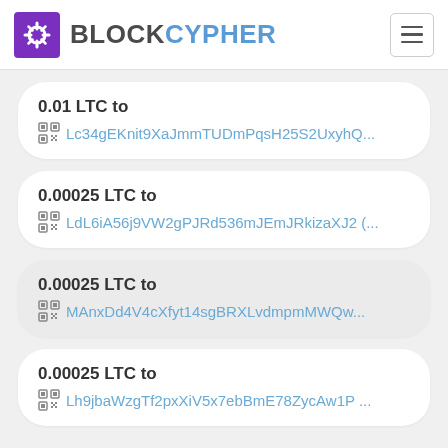BLOCKCYPHER
0.01 LTC to Lc34gEKnit9XaJmmTUDmPqsH25S2UxyhQ...
0.00025 LTC to LdL6iA56j9VW2gPJRd536mJEmJRkizaXJ2 (...
0.00025 LTC to MAnxDd4V4cXfyt14sgBRXLvdmpmMWQw...
0.00025 LTC to Lh9jbaWzgTf2pxXiV5x7ebBmE78ZycAw1P ...